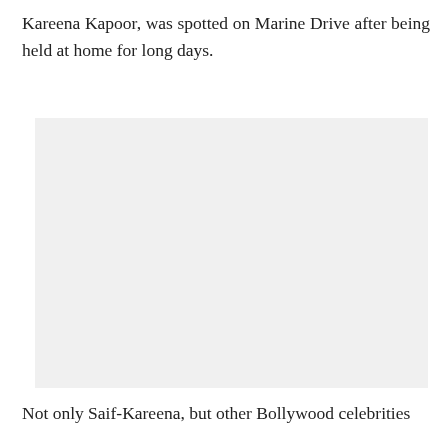Kareena Kapoor, was spotted on Marine Drive after being held at home for long days.
[Figure (photo): A light gray placeholder image area, likely a photograph of Kareena Kapoor on Marine Drive.]
Not only Saif-Kareena, but other Bollywood celebrities have also been spotted on their balconies. They H...